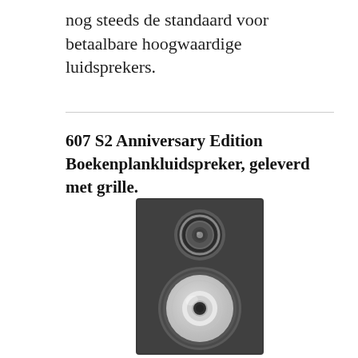nog steeds de standaard voor betaalbare hoogwaardige luidsprekers.
607 S2 Anniversary Edition Boekenplankluidspreker, geleverd met grille.
[Figure (photo): A black bookshelf loudspeaker (Bowers & Wilkins 607 S2 Anniversary Edition) shown from the front, featuring a tweeter at the top with a metallic surround and a white/light-gray woofer cone below, set against a white background.]